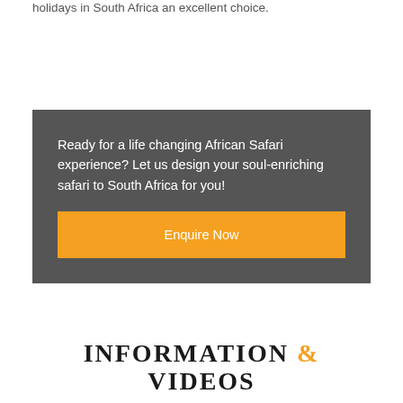holidays in South Africa an excellent choice.
Ready for a life changing African Safari experience? Let us design your soul-enriching safari to South Africa for you!
Enquire Now
INFORMATION & VIDEOS